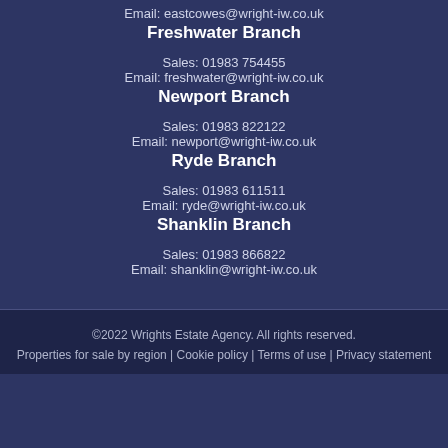Email: eastcowes@wright-iw.co.uk
Freshwater Branch
Sales: 01983 754455
Email: freshwater@wright-iw.co.uk
Newport Branch
Sales: 01983 822122
Email: newport@wright-iw.co.uk
Ryde Branch
Sales: 01983 611511
Email: ryde@wright-iw.co.uk
Shanklin Branch
Sales: 01983 866822
Email: shanklin@wright-iw.co.uk
©2022 Wrights Estate Agency. All rights reserved.
Properties for sale by region | Cookie policy | Terms of use | Privacy statement